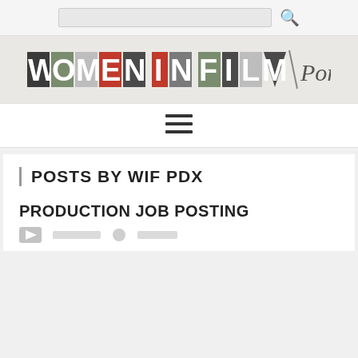[Figure (logo): Women In Film Portland logo with colorful letter blocks and italic Portland text]
[Figure (other): Hamburger menu icon (three horizontal lines)]
POSTS BY WIF PDX
PRODUCTION JOB POSTING